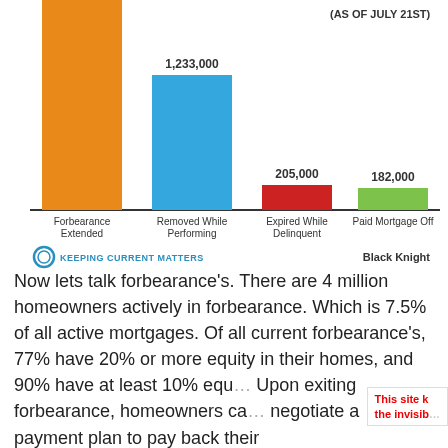[Figure (bar-chart): Forbearance Outcomes (As of July 21st)]
Now lets talk forbearance's. There are 4 million homeowners actively in forbearance. Which is 7.5% of all active mortgages. Of all current forbearance's, 77% have 20% or more equity in their homes, and 90% have at least 10% equ... Upon exiting forbearance, homeowners can negotiate a payment plan to pay back their...